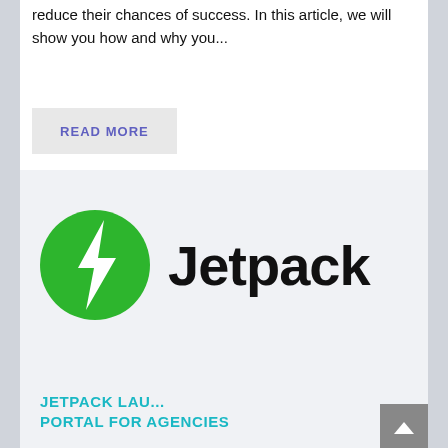reduce their chances of success. In this article, we will show you how and why you...
READ MORE
[Figure (logo): Jetpack logo: green circle with white lightning bolt and the word 'Jetpack' in bold black text]
JETPACK LAUNCHES PORTAL FOR AGENCIES
We're Online! How may I help you today?